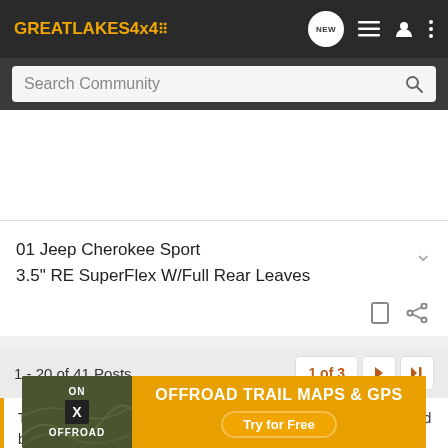GREATLAKES4x4 — NEW — navigation icons
Search Community
01 Jeep Cherokee Sport
3.5" RE SuperFlex W/Full Rear Leaves
1 - 20 of 41 Posts
1 of 3
This is an older thread, you may not receive a response, and could be reviving an old thread. Please consider creating a new thread.
[Figure (screenshot): ON X OFFROAD advertisement banner — OFFROAD TRAIL MAPS & GPS — Try for Free]